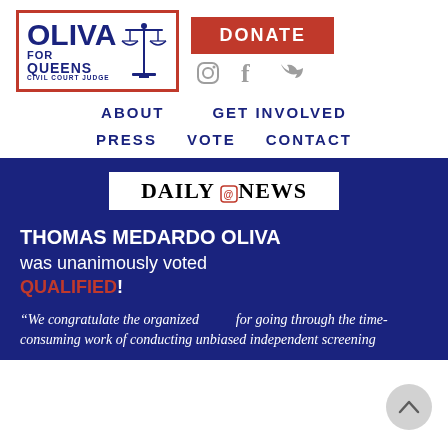[Figure (logo): Oliva for Queens Civil Court Judge campaign logo with red border, scales of justice icon]
[Figure (other): Red DONATE button and social media icons for Instagram, Facebook, Twitter]
ABOUT   GET INVOLVED
PRESS   VOTE   CONTACT
[Figure (logo): Daily News logo in white box]
THOMAS MEDARDO OLIVA was unanimously voted QUALIFIED!
“We congratulate the organized [bar] for going through the time-consuming work of conducting unbiased independent screening